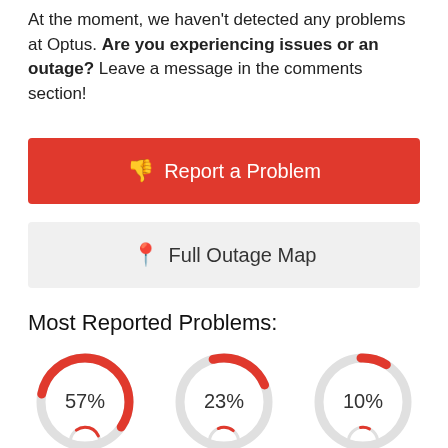At the moment, we haven't detected any problems at Optus. Are you experiencing issues or an outage? Leave a message in the comments section!
[Figure (infographic): Red button with thumbs-down icon labeled 'Report a Problem']
[Figure (infographic): Gray button with map pin icon labeled 'Full Outage Map']
Most Reported Problems:
[Figure (donut-chart): Most Reported Problems]